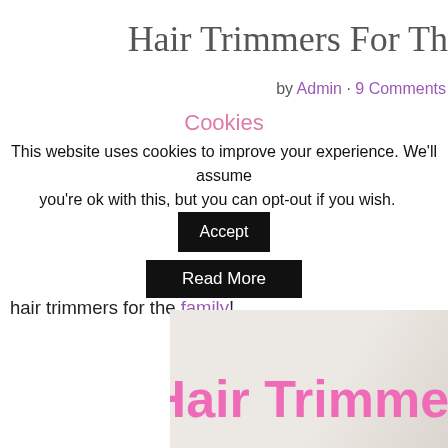Hair Trimmers For Th
by Admin · 9 Comments
COVID really changed the way we live. We were forced to quarant… forced to close or change the way they serve their customers. COV… salons, and barber shops, forcing people to forgo getting their hairc… hair trimmers for the family!
[Figure (photo): Image with pink bold text reading 'Hair Trimmer' on a light marble/stone background]
Cookies
This website uses cookies to improve your experience. We'll assume you're ok with this, but you can opt-out if you wish.
Accept
Read More